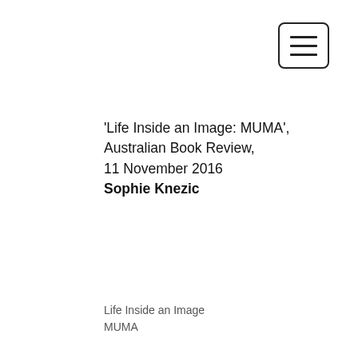[Figure (other): Hamburger menu button icon — a rounded rectangle with three horizontal lines inside]
'Life Inside an Image: MUMA', Australian Book Review, 11 November 2016 Sophie Knezic
Life Inside an Image
MUMA